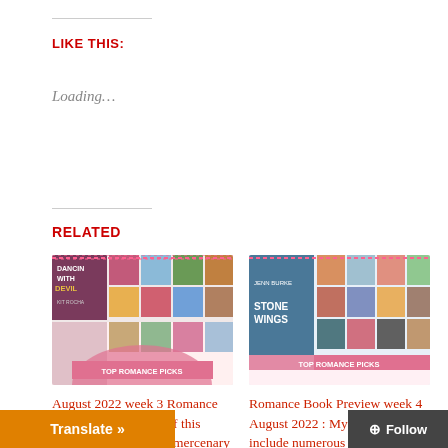LIKE THIS:
Loading…
RELATED
[Figure (illustration): Book collage image for August 2022 week 3 Romance Releases with 'TOP ROMANCE PICKS' banner, showing multiple romance book covers including 'Dancin With Devil' by Kit Rocha]
August 2022 week 3 Romance Releases : Top Picks of this weeks books includes mercenary librarians, fake relationships a-plenty and quite a few
[Figure (illustration): Book collage image for Romance Book Preview week 4 August 2022 with 'TOP ROMANCE PICKS' banner, showing multiple romance book covers including 'Stone Wings' by Jenn Burke]
Romance Book Preview week 4 August 2022 : My Top Picks include numerous grumpy/sunshine romances, the beginning of holiday romance season and some Gargoyles
Translate »
⊕ Follow